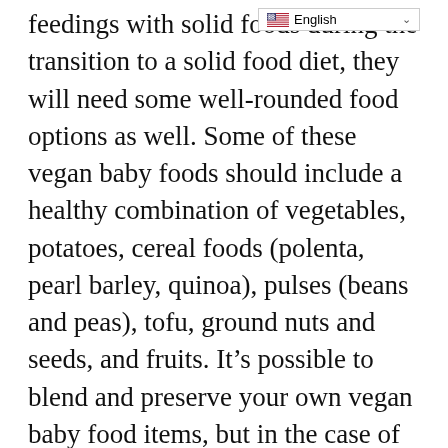feedings with solid foods during the transition to a solid food diet, they will need some well-rounded food options as well. Some of these vegan baby foods should include a healthy combination of vegetables, potatoes, cereal foods (polenta, pearl barley, quinoa), pulses (beans and peas), tofu, ground nuts and seeds, and fruits. It’s possible to blend and preserve your own vegan baby food items, but in the case of an emergency, we recommend avoiding the unnecessary extra risk involved with home canning. The last thing you want is a sick baby when you’re caught in a natural disaster, and there are many different shelf-stable vegan baby food options available to give your baby what they need.